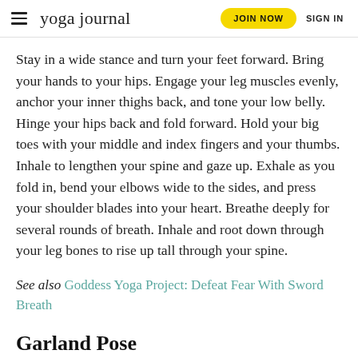yoga journal | JOIN NOW | SIGN IN
Stay in a wide stance and turn your feet forward. Bring your hands to your hips. Engage your leg muscles evenly, anchor your inner thighs back, and tone your low belly. Hinge your hips back and fold forward. Hold your big toes with your middle and index fingers and your thumbs. Inhale to lengthen your spine and gaze up. Exhale as you fold in, bend your elbows wide to the sides, and press your shoulder blades into your heart. Breathe deeply for several rounds of breath. Inhale and root down through your leg bones to rise up tall through your spine.
See also Goddess Yoga Project: Defeat Fear With Sword Breath
Garland Pose